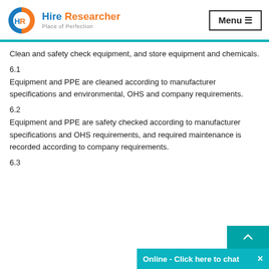Hire Researcher — Place of Perfection | Menu
Clean and safety check equipment, and store equipment and chemicals.
6.1
Equipment and PPE are cleaned according to manufacturer specifications and environmental, OHS and company requirements.
6.2
Equipment and PPE are safety checked according to manufacturer specifications and OHS requirements, and required maintenance is recorded according to company requirements.
6.3